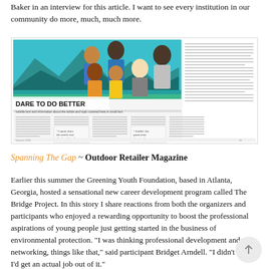Baker in an interview for this article. I want to see every institution in our community do more, much, much more.
[Figure (screenshot): Screenshot of a magazine spread titled 'DARE TO DO BETTER' featuring an illustrated cover image of diverse people outdoors with mountains in the background, and multiple columns of text below.]
Spanning The Gap ~ Outdoor Retailer Magazine
Earlier this summer the Greening Youth Foundation, based in Atlanta, Georgia, hosted a sensational new career development program called The Bridge Project. In this story I share reactions from both the organizers and participants who enjoyed a rewarding opportunity to boost the professional aspirations of young people just getting started in the business of environmental protection. "I was thinking professional development and networking, things like that," said participant Bridget Arndell. "I didn't think I'd get an actual job out of it."